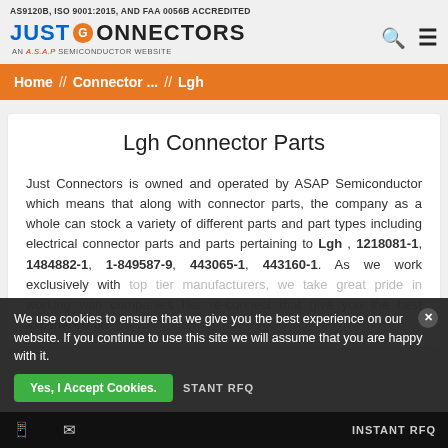AS9120B, ISO 9001:2015, AND FAA 0056B ACCREDITED
[Figure (logo): Just Connectors logo - AN A.S.A.P SEMICONDUCTOR WEBSITE]
Home // Connector ... // Lgh
Lgh Connector Parts
Just Connectors is owned and operated by ASAP Semiconductor which means that along with connector parts, the company as a whole can stock a variety of different parts and part types including electrical connector parts and parts pertaining to Lgh , 1218081-1, 1484882-1, 1-849587-9, 443065-1, 443160-1. As we work exclusively with top tier manufacturers, we take great pride in working with companies like...
We use cookies to ensure that we give you the best experience on our website. If you continue to use this site we will assume that you are happy with it.
Yes, I Accept Cookies.
INSTANT RFQ